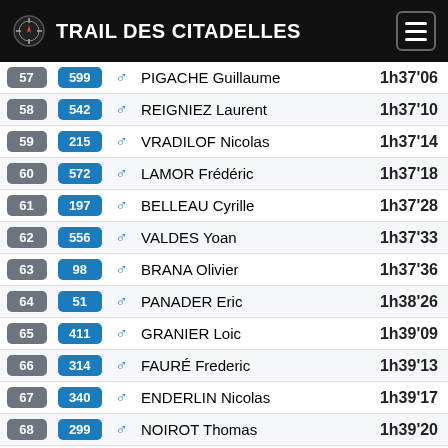TRAIL DES CITADELLES
| Rank | Bib | Sex | Name | Time |
| --- | --- | --- | --- | --- |
| 57 | 599 | ♂ | PIGACHE Guillaume | 1h37'06 |
| 58 | 542 | ♂ | REIGNIEZ Laurent | 1h37'10 |
| 59 | 215 | ♂ | VRADILOF Nicolas | 1h37'14 |
| 60 | 572 | ♂ | LAMOR Frédéric | 1h37'18 |
| 61 | 197 | ♂ | BELLEAU Cyrille | 1h37'28 |
| 62 | 556 | ♂ | VALDES Yoan | 1h37'33 |
| 63 | 98 | ♂ | BRANA Olivier | 1h37'36 |
| 64 | 51 | ♂ | PANADER Eric | 1h38'26 |
| 65 | 411 | ♂ | GRANIER Loic | 1h39'09 |
| 66 | 314 | ♂ | FAURÉ Frederic | 1h39'13 |
| 67 | 340 | ♂ | ENDERLIN Nicolas | 1h39'17 |
| 68 | 299 | ♂ | NOIROT Thomas | 1h39'20 |
| 69 | 354 | ♂ | SIRVEN Antoine | 1h39'25 |